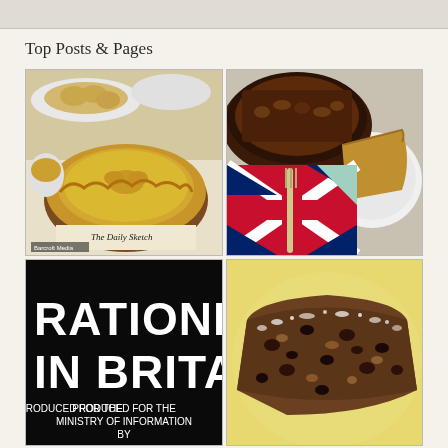Top Posts & Pages
[Figure (photo): A golden-crusted pie in a brown ceramic dish with The Daily Sketch newspaper visible underneath, and smaller pastries on plates in the background.]
[Figure (photo): A dark-crusted pie in a brown dish with a fork on a Union Jack fabric, and a slice of pie on a white plate.]
[Figure (photo): Black and white book cover reading 'RATIONING IN BRITAIN - PRODUCED FOR THE MINISTRY OF INFORMATION BY']
[Figure (photo): A slice of dark fruit cake with powdered sugar on a cream-colored plate.]